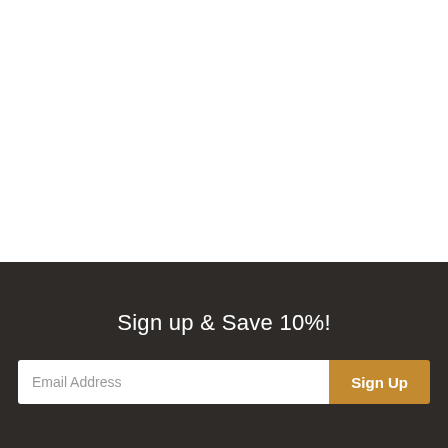Sign up & Save 10%!
Email Address
Sign Up